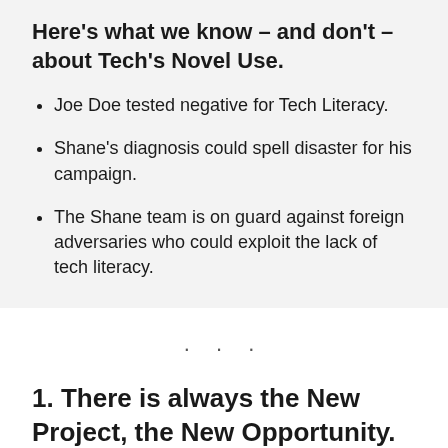Here's what we know – and don't – about Tech's Novel Use.
Joe Doe tested negative for Tech Literacy.
Shane's diagnosis could spell disaster for his campaign.
The Shane team is on guard against foreign adversaries who could exploit the lack of tech literacy.
· · ·
1. There is always the New Project, the New Opportunity.